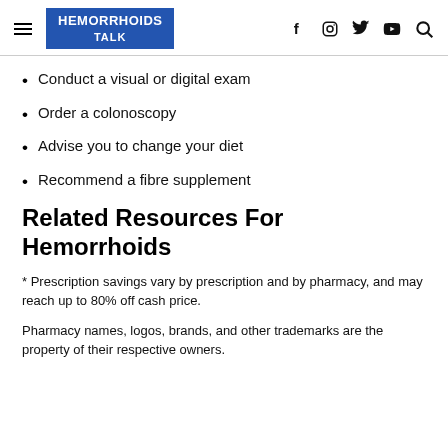HEMORRHOIDS TALK
Conduct a visual or digital exam
Order a colonoscopy
Advise you to change your diet
Recommend a fibre supplement
Related Resources For Hemorrhoids
* Prescription savings vary by prescription and by pharmacy, and may reach up to 80% off cash price.
Pharmacy names, logos, brands, and other trademarks are the property of their respective owners.